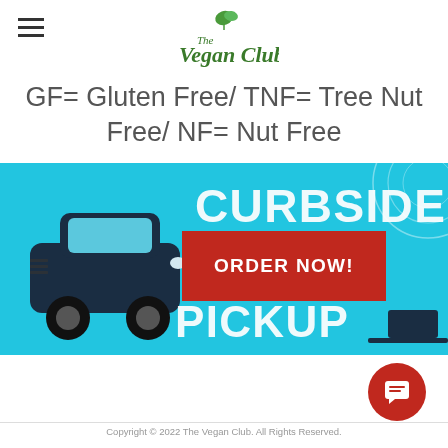The Vegan Club
GF= Gluten Free/ TNF= Tree Nut Free/ NF= Nut Free
[Figure (infographic): Curbside Pickup banner with a dark car illustration on cyan/blue background, a red ORDER NOW! button overlay, and partial text CURBSIDE PICKUP in white bold letters]
Copyright © 2022 The Vegan Club. All Rights Reserved.